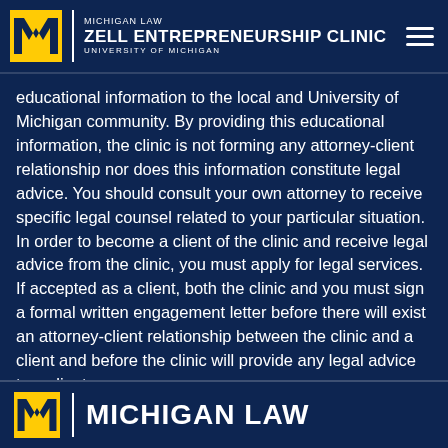Michigan Law Zell Entrepreneurship Clinic University of Michigan
educational information to the local and University of Michigan community. By providing this educational information, the clinic is not forming any attorney-client relationship nor does this information constitute legal advice. You should consult your own attorney to receive specific legal counsel related to your particular situation. In order to become a client of the clinic and receive legal advice from the clinic, you must apply for legal services. If accepted as a client, both the clinic and you must sign a formal written engagement letter before there will exist an attorney-client relationship between the clinic and a client and before the clinic will provide any legal advice to a client.
Michigan Law